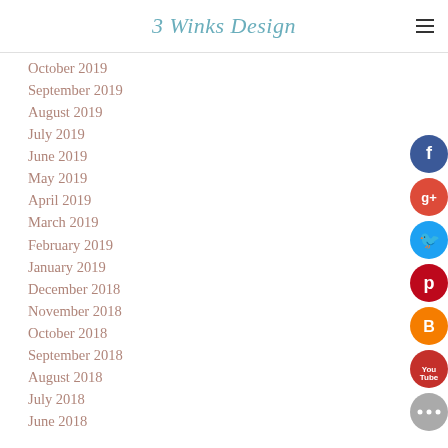3 Winks Design
October 2019
September 2019
August 2019
July 2019
June 2019
May 2019
April 2019
March 2019
February 2019
January 2019
December 2018
November 2018
October 2018
September 2018
August 2018
July 2018
June 2018
[Figure (infographic): Social media icon buttons: Facebook (dark blue), Google+ (red), Twitter (light blue), Pinterest (dark red), Blogger (orange), YouTube (dark red), More (gray)]